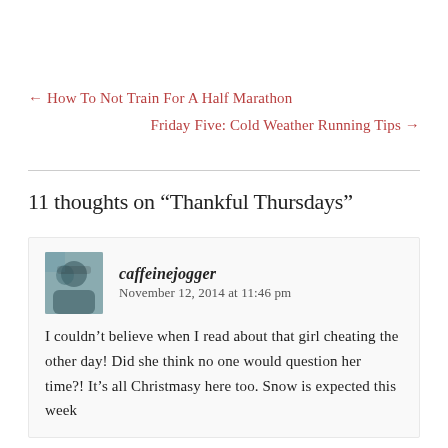← How To Not Train For A Half Marathon
Friday Five: Cold Weather Running Tips →
11 thoughts on “Thankful Thursdays”
caffeinejogger   November 12, 2014 at 11:46 pm
I couldn’t believe when I read about that girl cheating the other day! Did she think no one would question her time?! It’s all Christmasy here too. Snow is expected this week